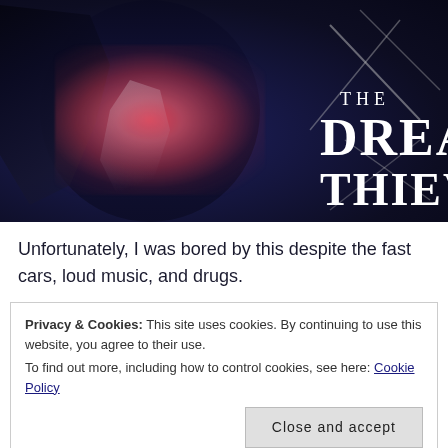[Figure (illustration): Book cover for 'The Dream Thieves' showing a dark silhouetted figure with pink/red feathers glowing at the chest area, dark wings on the left, and scratch marks in grey on the right. White serif title text reads 'THE DREAM THIEVES'.]
Unfortunately, I was bored by this despite the fast cars, loud music, and drugs.
Privacy & Cookies: This site uses cookies. By continuing to use this website, you agree to their use.
To find out more, including how to control cookies, see here: Cookie Policy
Close and accept